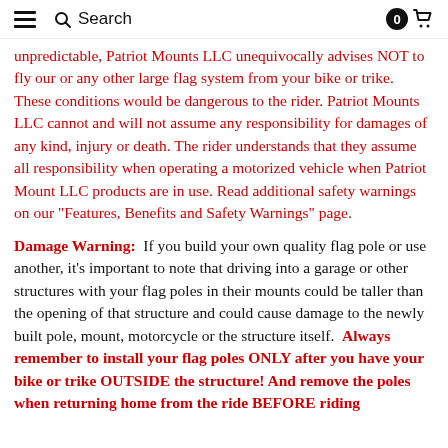≡  🔍 Search  [0] 🛒
unpredictable, Patriot Mounts LLC unequivocally advises NOT to fly our or any other large flag system from your bike or trike. These conditions would be dangerous to the rider. Patriot Mounts LLC cannot and will not assume any responsibility for damages of any kind, injury or death. The rider understands that they assume all responsibility when operating a motorized vehicle when Patriot Mount LLC products are in use. Read additional safety warnings on our "Features, Benefits and Safety Warnings" page.
Damage Warning: If you build your own quality flag pole or use another, it's important to note that driving into a garage or other structures with your flag poles in their mounts could be taller than the opening of that structure and could cause damage to the newly built pole, mount, motorcycle or the structure itself. Always remember to install your flag poles ONLY after you have your bike or trike OUTSIDE the structure! And remove the poles when returning home from the ride BEFORE riding